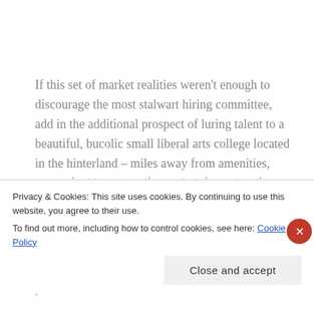If this set of market realities weren't enough to discourage the most stalwart hiring committee, add in the additional prospect of luring talent to a beautiful, bucolic small liberal arts college located in the hinterland – miles away from amenities, convenient transportation, entertainment options, or infrastructure.
I think that about sets the stage for the challenges posed
Privacy & Cookies: This site uses cookies. By continuing to use this website, you agree to their use.
To find out more, including how to control cookies, see here: Cookie Policy
Close and accept